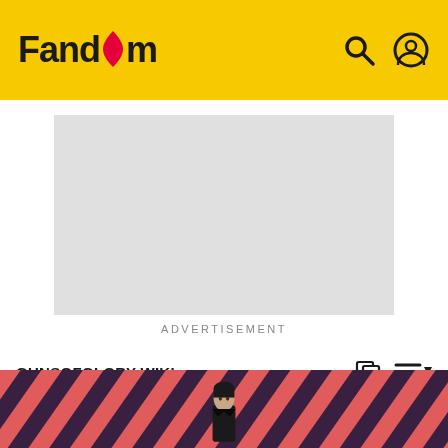Fandom
[Figure (other): Advertisement placeholder: gray rectangle with 'ADVERTISEMENT' label below]
ADVERTISEMENT
GUNSOFGLORY WIKI
Estate
[Figure (photo): Bottom banner with diagonal red/dark stripes pattern and a dark-haired man figure in center]